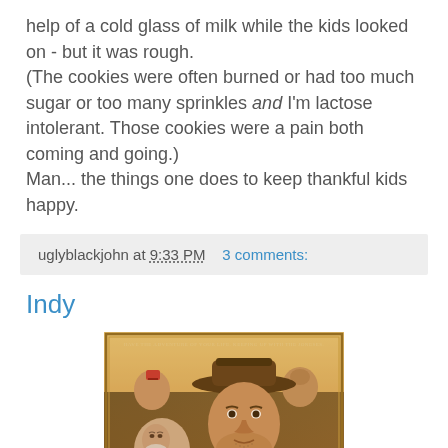help of a cold glass of milk while the kids looked on - but it was rough.
(The cookies were often burned or had too much sugar or too many sprinkles and I'm lactose intolerant. Those cookies were a pain both coming and going.)
Man... the things one does to keep thankful kids happy.
uglyblackjohn at 9:33 PM   3 comments:
Indy
[Figure (photo): Movie poster for Indiana Jones and the Last Crusade showing Harrison Ford in fedora hat prominently in foreground and Sean Connery with beard in background/lower left, with other characters. Text at top reads 'Have The Adventure Of Your Life. Keeping Up With The Joneses.']